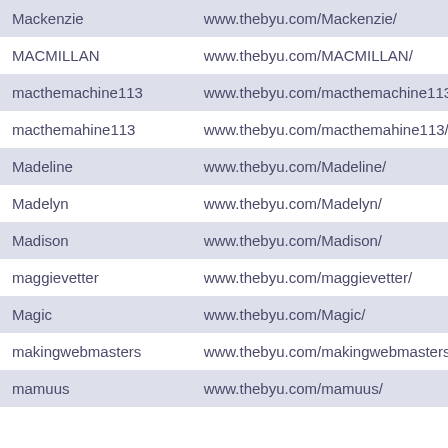| Mackenzie | www.thebyu.com/Mackenzie/ |
| MACMILLAN | www.thebyu.com/MACMILLAN/ |
| macthemachine113 | www.thebyu.com/macthemachine113 |
| macthemahine113 | www.thebyu.com/macthemahine113/ |
| Madeline | www.thebyu.com/Madeline/ |
| Madelyn | www.thebyu.com/Madelyn/ |
| Madison | www.thebyu.com/Madison/ |
| maggievetter | www.thebyu.com/maggievetter/ |
| Magic | www.thebyu.com/Magic/ |
| makingwebmasters | www.thebyu.com/makingwebmasters/ |
| mamuus | www.thebyu.com/mamuus/ |